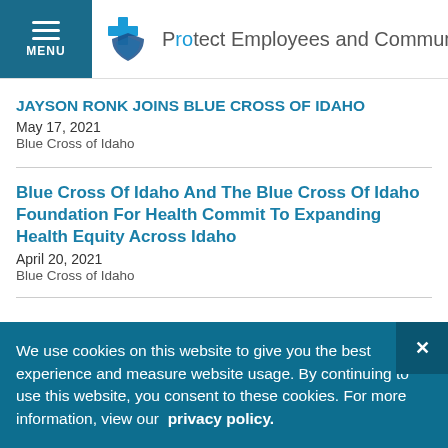Protect Employees and Communities f
JAYSON RONK JOINS BLUE CROSS OF IDAHO
May 17, 2021
Blue Cross of Idaho
Blue Cross Of Idaho And The Blue Cross Of Idaho Foundation For Health Commit To Expanding Health Equity Across Idaho
April 20, 2021
Blue Cross of Idaho
We use cookies on this website to give you the best experience and measure website usage. By continuing to use this website, you consent to these cookies. For more information, view our privacy policy.